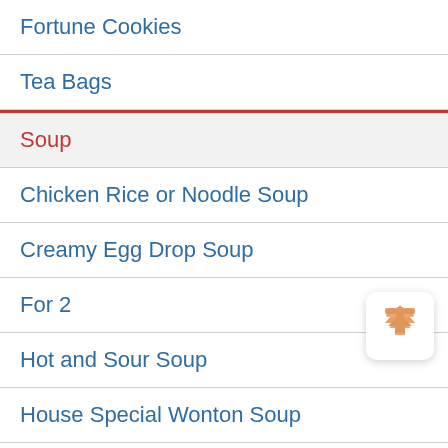Fortune Cookies
Tea Bags
Soup
Chicken Rice or Noodle Soup
Creamy Egg Drop Soup
For 2
Hot and Sour Soup
House Special Wonton Soup
Mixed Vegetable and Tofu Soup
Qt
Seafood Soup